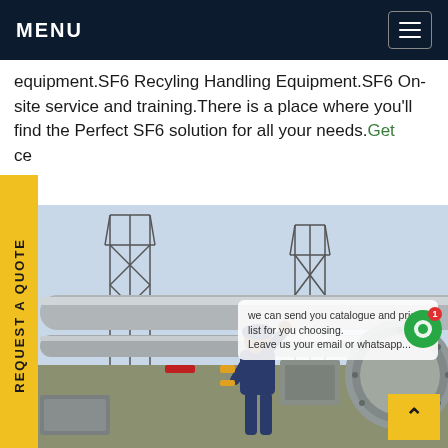MENU
equipment.SF6 Recyling Handling Equipment.SF6 On-site service and training.There is a place where you'll find the Perfect SF6 solution for all your needs.Get ce
REQUEST A QUOTE
[Figure (photo): Industrial/electrical substation scene showing a technician in blue overalls working on large SF6 gas-insulated switchgear equipment, with power transmission towers in the background]
we can send you catalogue and price list for you choosing. Leave us your email or whatsapp...